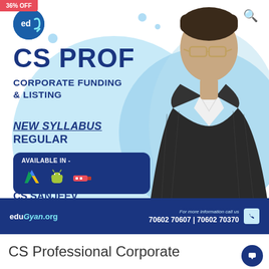[Figure (infographic): CS Professional Corporate Funding and Listing course advertisement banner. Features instructor CS Sanjeev Sapra photo, edU logo, 36% OFF badge, course title, new syllabus regular badge, available in Google Drive/Android/USB, contact details 70602 70607 | 70602 70370, eduGyan.org branding.]
CS Professional Corporate